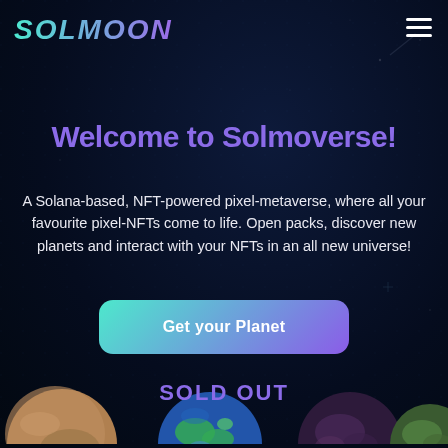[Figure (screenshot): Dark space-themed website header with 'SOLMOON' logo in gradient teal-to-purple italic bold text on the left, and a white hamburger menu icon on the right]
Welcome to Solmoverse!
A Solana-based, NFT-powered pixel-metaverse, where all your favourite pixel-NFTs come to life. Open packs, discover new planets and interact with your NFTs in an all new universe!
Get your Planet
SOLD OUT
[Figure (illustration): Four partial planet spheres visible along the bottom edge of the page — a sandy/rocky planet, an earth-like blue-green planet, a dark purple planet, and a green mottled planet]